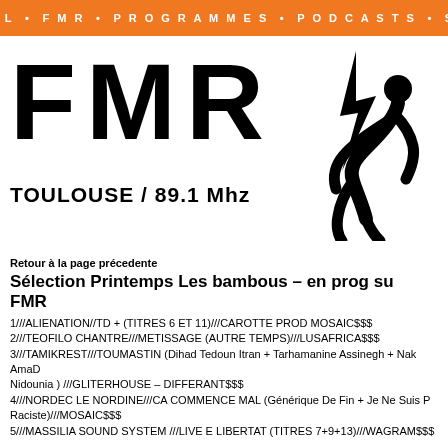ACCUEIL • FMR • PROGRAMMES • PODCASTS • STREAM
[Figure (logo): FMR radio logo with large bold letters F M R, subtitle TOULOUSE / 89.1 Mhz, and a silhouette figure of a person leaning forward with lightning bolt above]
Retour à la page précedente
Sélection Printemps Les bambous – en prog su FMR
1///ALIENATION//TD + (TITRES 6 ET 11)///CAROTTE PROD MOSAIC$$$
2///TEOFILO CHANTRE///METISSAGE (AUTRE TEMPS)///LUSAFRICA$$$
3///TAMIKREST///TOUMASTIN (Dihad Tedoun Itran + Tarhamanine Assinegh + Nak AmaD Nidounia ) ///GLITERHOUSE – DIFFERANT$$$
4///NORDEC LE NORDINE///CA COMMENCE MAL (Générique De Fin + Je Ne Suis P Raciste)///MOSAIC$$$
5///MASSILIA SOUND SYSTEM ///LIVE E LIBERTAT (TITRES 7+9+13)///WAGRAM$$$